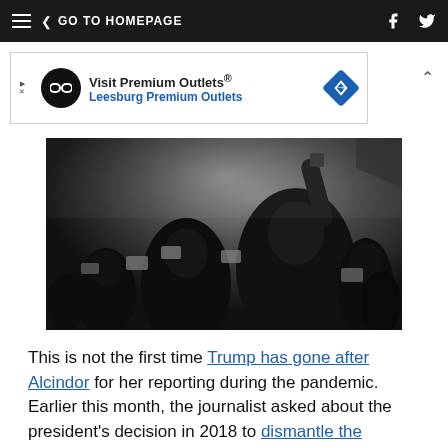GO TO HOMEPAGE
[Figure (photo): Black and white photo of a crowd at a rally or concert, with a person in the foreground raising their hand holding something, and many people with phones raised.]
This is not the first time Trump has gone after Alcindor for her reporting during the pandemic. Earlier this month, the journalist asked about the president's decision in 2018 to dismantle the